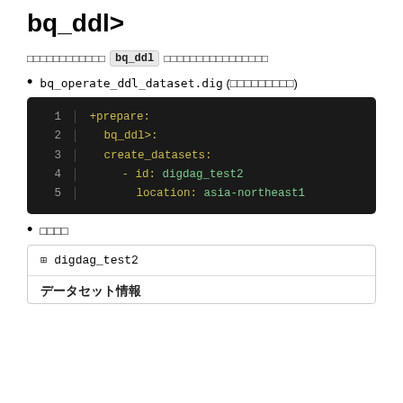bq_ddl>
□□□□□□□□□□□□ bq_ddl □□□□□□□□□□□□□□□□
bq_operate_ddl_dataset.dig (□□□□□□□□□)
[Figure (screenshot): Code block showing YAML configuration: +prepare: bq_ddl>: create_datasets: - id: digdag_test2 location: asia-northeast1]
□□□□
| digdag_test2 |
| --- |
データセット情報